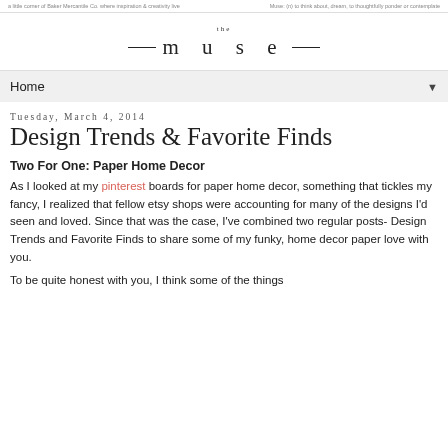a little corner of Baker Mercantile Co. where inspiration & creativity live    Muse: (n) to think about, dream, to thoughtfully ponder or contemplate
[Figure (logo): The Muse blog logo: 'the' in small serif text above 'M U S E' in large spaced serif letters with decorative horizontal lines flanking]
Home ▼
Tuesday, March 4, 2014
Design Trends & Favorite Finds
Two For One: Paper Home Decor
As I looked at my pinterest boards for paper home decor, something that tickles my fancy, I realized that fellow etsy shops were accounting for many of the designs I'd seen and loved.  Since that was the case, I've combined two regular posts- Design Trends and Favorite Finds to share some of my funky, home decor paper love with you.
To be quite honest with you, I think some of the things